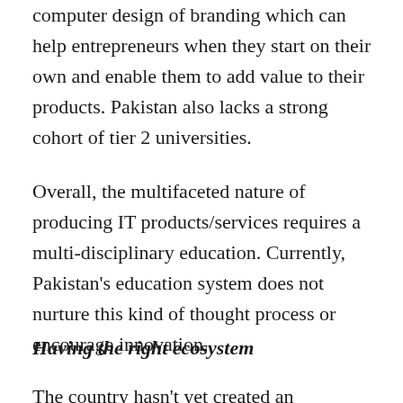computer design of branding which can help entrepreneurs when they start on their own and enable them to add value to their products. Pakistan also lacks a strong cohort of tier 2 universities.
Overall, the multifaceted nature of producing IT products/services requires a multi-disciplinary education. Currently, Pakistan's education system does not nurture this kind of thought process or encourage innovation.
Having the right ecosystem
The country hasn't yet created an ecosystem